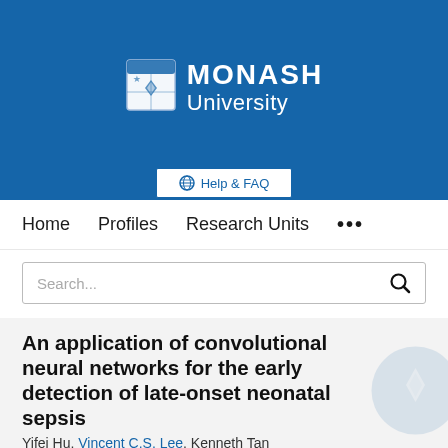[Figure (logo): Monash University logo — shield/crest on left, 'MONASH University' text in white on blue background]
[Figure (other): Help & FAQ button with globe icon on white background]
Home   Profiles   Research Units   ...
Search...
An application of convolutional neural networks for the early detection of late-onset neonatal sepsis
Yifei Hu, Vincent C.S. Lee, Kenneth Tan